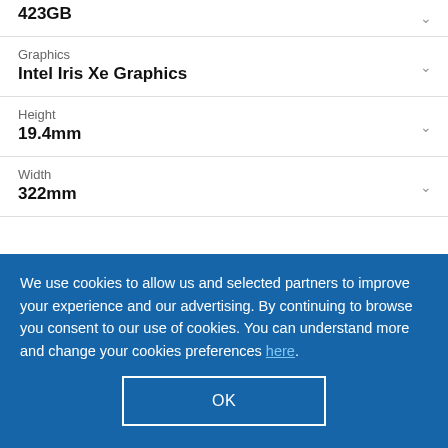423GB
Graphics
Intel Iris Xe Graphics
Height
19.4mm
Width
322mm
We use cookies to allow us and selected partners to improve your experience and our advertising. By continuing to browse you consent to our use of cookies. You can understand more and change your cookies preferences here.
OK